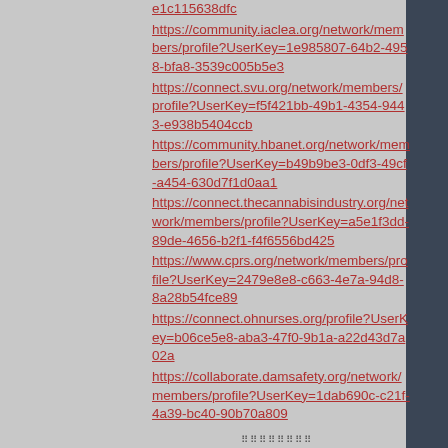e1c115638dfc https://community.iaclea.org/network/members/profile?UserKey=1e985807-64b2-4958-bfa8-3539c005b5e3 https://connect.svu.org/network/members/profile?UserKey=f5f421bb-49b1-4354-9443-e938b5404ccb https://community.hbanet.org/network/members/profile?UserKey=b49b9be3-0df3-49cf-a454-630d7f1d0aa1 https://connect.thecannabisindustry.org/network/members/profile?UserKey=a5e1f3dd-89de-4656-b2f1-f4f6556bd425 https://www.cprs.org/network/members/profile?UserKey=2479e8e8-c663-4e7a-94d8-8a28b54fce89 https://connect.ohnurses.org/profile?UserKey=b06ce5e8-aba3-47f0-9b1a-a22d43d7a02a https://collaborate.damsafety.org/network/members/profile?UserKey=1dab690c-c21f-4a39-bc40-90b70a809...